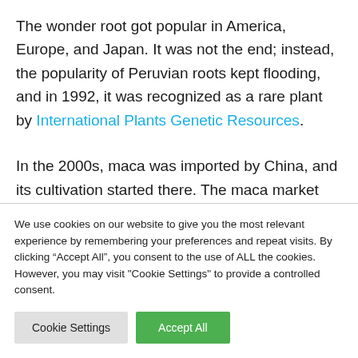The wonder root got popular in America, Europe, and Japan. It was not the end; instead, the popularity of Peruvian roots kept flooding, and in 1992, it was recognized as a rare plant by International Plants Genetic Resources.
In the 2000s, maca was imported by China, and its cultivation started there. The maca market has grown
We use cookies on our website to give you the most relevant experience by remembering your preferences and repeat visits. By clicking "Accept All", you consent to the use of ALL the cookies. However, you may visit "Cookie Settings" to provide a controlled consent.